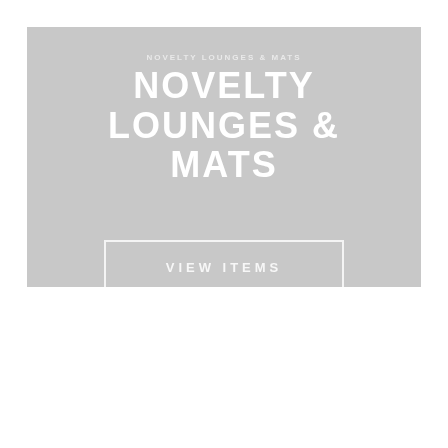[Figure (illustration): Gray banner/promotional image with white bold text reading 'NOVELTY LOUNGES & MATS' and a white-bordered button labeled 'VIEW ITEMS' on a light gray background.]
NOVELTY LOUNGES & MATS
VIEW ITEMS